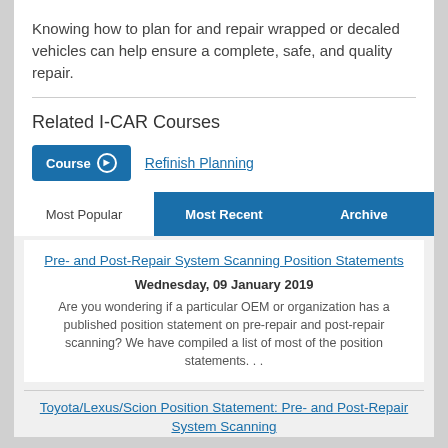Knowing how to plan for and repair wrapped or decaled vehicles can help ensure a complete, safe, and quality repair.
Related I-CAR Courses
Course ▶  Refinish Planning
Most Popular | Most Recent | Archive
Pre- and Post-Repair System Scanning Position Statements
Wednesday, 09 January 2019
Are you wondering if a particular OEM or organization has a published position statement on pre-repair and post-repair scanning? We have compiled a list of most of the position statements. . .
Toyota/Lexus/Scion Position Statement: Pre- and Post-Repair System Scanning